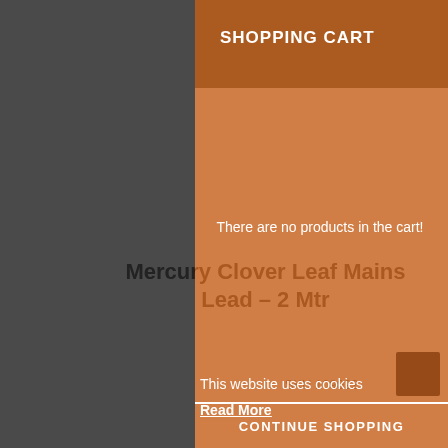SHOPPING CART
There are no products in the cart!
Mercury Clover Leaf Mains Lead – 2 Mtr
SKU 109022
£6.99
Length
2 Mtr
Black
2 Year
Mercury
This website uses cookies
Read More
CONTINUE SHOPPING